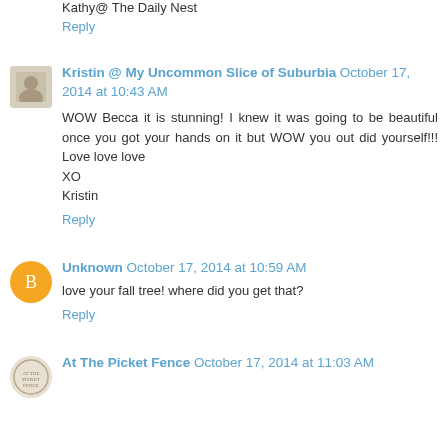Kathy@ The Daily Nest
Reply
Kristin @ My Uncommon Slice of Suburbia  October 17, 2014 at 10:43 AM
WOW Becca it is stunning! I knew it was going to be beautiful once you got your hands on it but WOW you out did yourself!!! Love love love
XO
Kristin
Reply
Unknown  October 17, 2014 at 10:59 AM
love your fall tree! where did you get that?
Reply
At The Picket Fence  October 17, 2014 at 11:03 AM